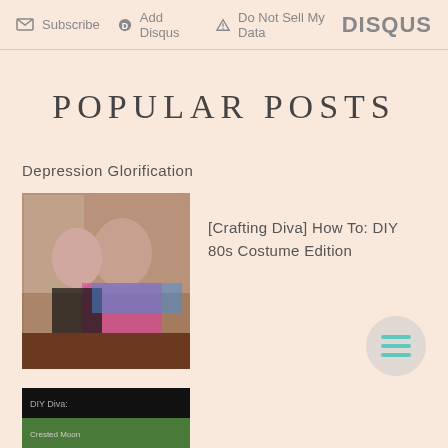Subscribe | Add Disqus | Do Not Sell My Data | DISQUS
POPULAR POSTS
Depression Glorification
[Figure (photo): Two people dressed in colorful 80s costumes; one in a pink tutu and one in a pink t-shirt with tie-dye pants]
[Crafting Diva] How To: DIY 80s Costume Edition
[Figure (photo): Partially visible thumbnail of a second blog post with dark header and green elements]